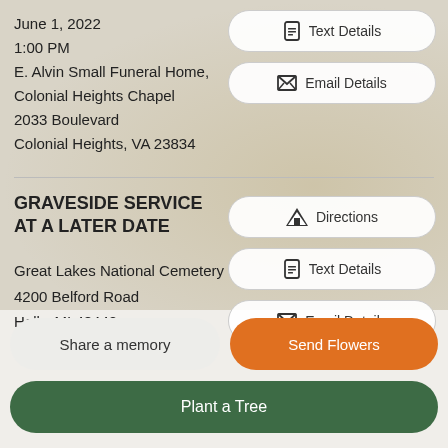June 1, 2022
1:00 PM
E. Alvin Small Funeral Home, Colonial Heights Chapel
2033 Boulevard
Colonial Heights, VA 23834
Text Details
Email Details
GRAVESIDE SERVICE AT A LATER DATE
Directions
Text Details
Email Details
Great Lakes National Cemetery
4200 Belford Road
Holly, MI 48442
Share a memory
Send Flowers
Plant a Tree